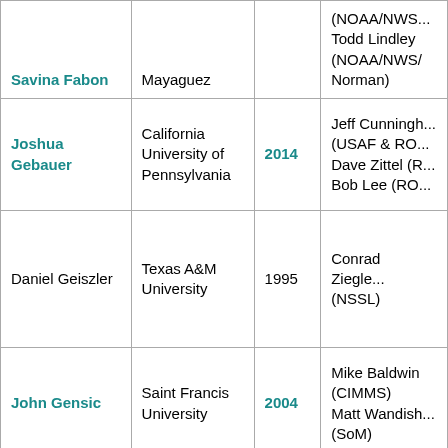| Name | Institution | Year | Mentors |
| --- | --- | --- | --- |
| Savina Fabon (partial) | Mayaguez |  | (NOAA/NWS... Todd Lindley (NOAA/NWS/Norman) |
| Joshua Gebauer | California University of Pennsylvania | 2014 | Jeff Cunningh... (USAF & RO... Dave Zittel (R... Bob Lee (RO... |
| Daniel Geiszler | Texas A&M University | 1995 | Conrad Ziegle... (NSSL) |
| John Gensic | Saint Francis University | 2004 | Mike Baldwin (CIMMS) Matt Wandish... (SoM) |
| Victor Gensini | Northern Illinois University | 2007 | Harold Brooks... (NSSL) |